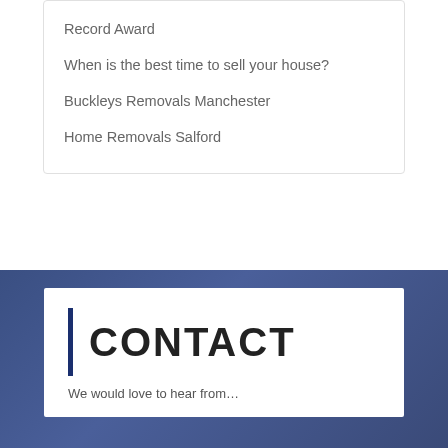Record Award
When is the best time to sell your house?
Buckleys Removals Manchester
Home Removals Salford
CONTACT